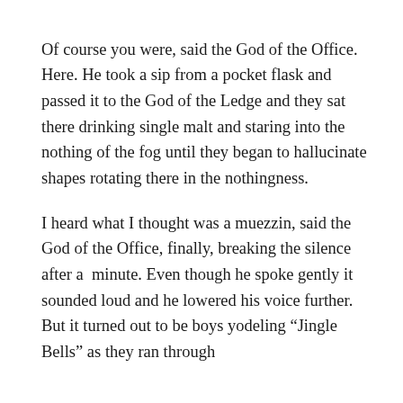Of course you were, said the God of the Office. Here. He took a sip from a pocket flask and passed it to the God of the Ledge and they sat there drinking single malt and staring into the nothing of the fog until they began to hallucinate shapes rotating there in the nothingness.
I heard what I thought was a muezzin, said the God of the Office, finally, breaking the silence after a  minute. Even though he spoke gently it sounded loud and he lowered his voice further. But it turned out to be boys yodeling “Jingle Bells” as they ran through